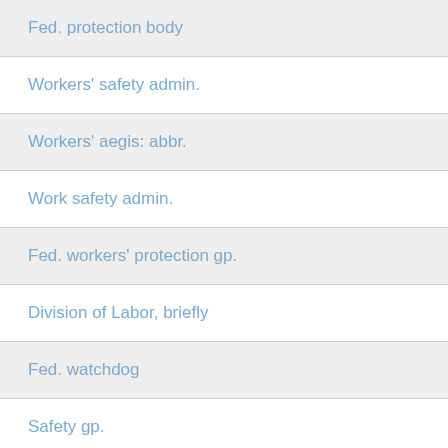Fed. protection body
Workers' safety admin.
Workers' aegis: abbr.
Work safety admin.
Fed. workers' protection gp.
Division of Labor, briefly
Fed. watchdog
Safety gp.
Workplace overseer, for short